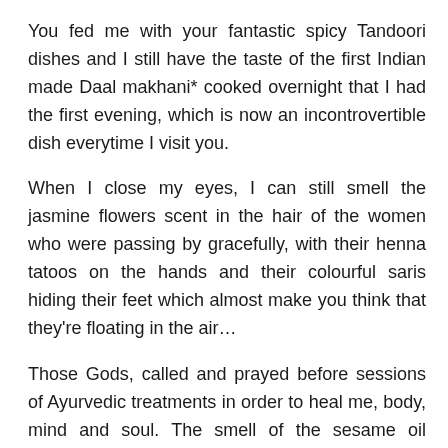You fed me with your fantastic spicy Tandoori dishes and I still have the taste of the first Indian made Daal makhani* cooked overnight that I had the first evening, which is now an incontrovertible dish everytime I visit you.
When I close my eyes, I can still smell the jasmine flowers scent in the hair of the women who were passing by gracefully, with their henna tatoos on the hands and their colourful saris hiding their feet which almost make you think that they're floating in the air…
Those Gods, called and prayed before sessions of Ayurvedic treatments in order to heal me, body, mind and soul. The smell of the sesame oil spilling out on my front head, cleaning my 3rd eye during a Shirodhara in Kerala.
I miss our noisy rides in picturesque rickshaws, horning